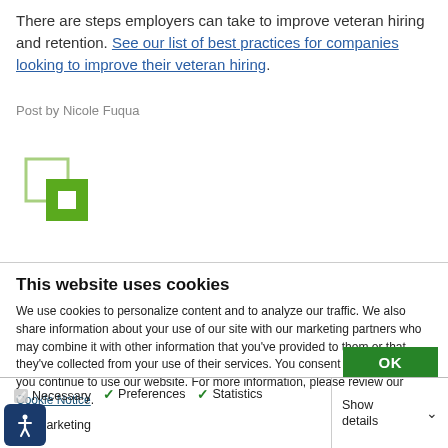There are steps employers can take to improve veteran hiring and retention. See our list of best practices for companies looking to improve their veteran hiring.
Post by Nicole Fuqua
[Figure (logo): Green overlapping squares logo (company/organization logo)]
This website uses cookies
We use cookies to personalize content and to analyze our traffic. We also share information about your use of our site with our marketing partners who may combine it with other information that you've provided to them or that they've collected from your use of their services. You consent to our cookies if you continue to use our website. For more information, please review our Cookie Notice.